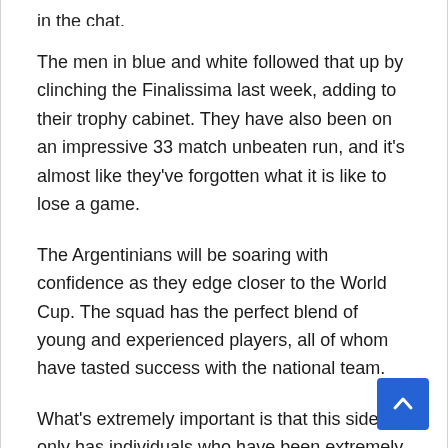in the chat.
The men in blue and white followed that up by clinching the Finalissima last week, adding to their trophy cabinet. They have also been on an impressive 33 match unbeaten run, and it's almost like they've forgotten what it is like to lose a game.
The Argentinians will be soaring with confidence as they edge closer to the World Cup. The squad has the perfect blend of young and experienced players, all of whom have tasted success with the national team.
What's extremely important is that this side not only has individuals who have been extremely successful at the club level, but it's also a side that has learned to win together. The level of